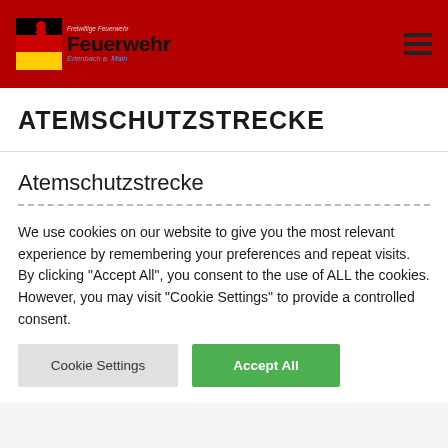Feuerwehr Erlenbach a. Main
ATEMSCHUTZSTRECKE
Atemschutzstrecke
We use cookies on our website to give you the most relevant experience by remembering your preferences and repeat visits. By clicking "Accept All", you consent to the use of ALL the cookies. However, you may visit "Cookie Settings" to provide a controlled consent.